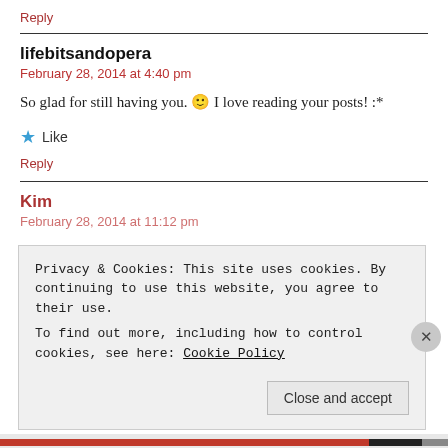Reply
lifebitsandopera
February 28, 2014 at 4:40 pm
So glad for still having you. 🙂 I love reading your posts! :*
★ Like
Reply
Kim
February 28, 2014 at 11:12 pm
Privacy & Cookies: This site uses cookies. By continuing to use this website, you agree to their use. To find out more, including how to control cookies, see here: Cookie Policy
Close and accept